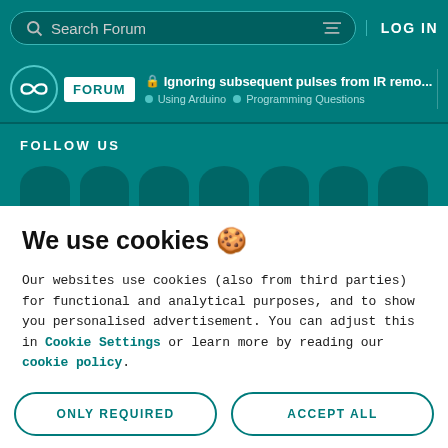Search Forum  LOG IN
Ignoring subsequent pulses from IR remo... | Using Arduino | Programming Questions
FOLLOW US
We use cookies 🍪
Our websites use cookies (also from third parties) for functional and analytical purposes, and to show you personalised advertisement. You can adjust this in Cookie Settings or learn more by reading our cookie policy.
ONLY REQUIRED
ACCEPT ALL